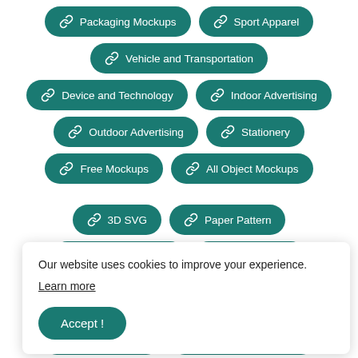Packaging Mockups
Sport Apparel
Vehicle and Transportation
Device and Technology
Indoor Advertising
Outdoor Advertising
Stationery
Free Mockups
All Object Mockups
3D SVG
Paper Pattern
Product Mockups
Backgrounds
Our website uses cookies to improve your experience.
Learn more
Accept !
Creative Fonts
Embroidery Designs